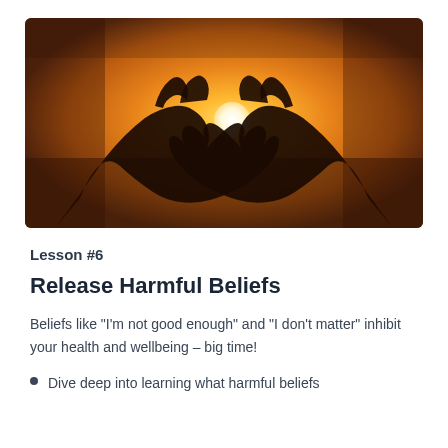[Figure (photo): Silhouette of two hands forming a heart shape against a warm orange/golden sunset sky, with the sun visible through the heart shape.]
Lesson #6
Release Harmful Beliefs
Beliefs like “I’m not good enough” and “I don’t matter” inhibit your health and wellbeing – big time!
Dive deep into learning what harmful beliefs